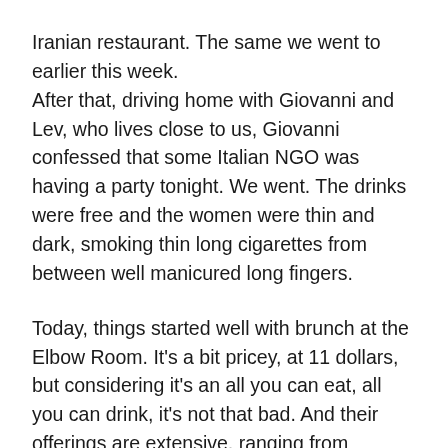Iranian restaurant. The same we went to earlier this week. After that, driving home with Giovanni and Lev, who lives close to us, Giovanni confessed that some Italian NGO was having a party tonight. We went. The drinks were free and the women were thin and dark, smoking thin long cigarettes from between well manicured long fingers.
Today, things started well with brunch at the Elbow Room. It's a bit pricey, at 11 dollars, but considering it's an all you can eat, all you can drink, it's not that bad. And their offerings are extensive, ranging from pancakes, through salads and juices to custom made omelettes. Afterwards, for the first time, I spent time walking through the city. Quiet (it IS Friday) but nice. And it was also pleasant none of the street-kids-out-for-foreigners